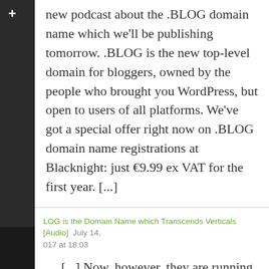new podcast about the .BLOG domain name which we'll be publishing tomorrow. .BLOG is the new top-level domain for bloggers, owned by the people who brought you WordPress, but open to users of all platforms. We've got a special offer right now on .BLOG domain name registrations at Blacknight: just €9.99 ex VAT for the first year. [...]
.LOG is the Domain Name which Transcends Verticals [Audio]  July 14, 017 at 18:03
[...] Now, however, they are running promotions – and Blacknight is currently offering .BLOG domain names at just €9.99